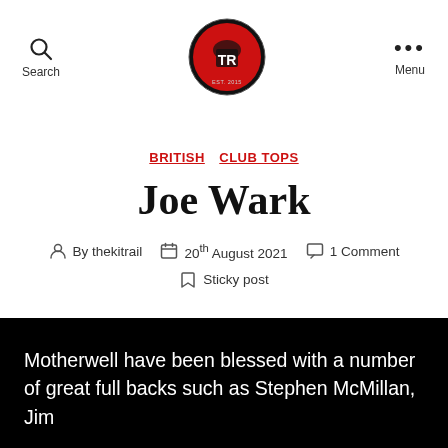Search | [Logo: The Kit Rail] | Menu
BRITISH  CLUB TOPS
Joe Wark
By thekitrail  20th August 2021  1 Comment  Sticky post
Motherwell have been blessed with a number of great full backs such as Stephen McMillan, Jim